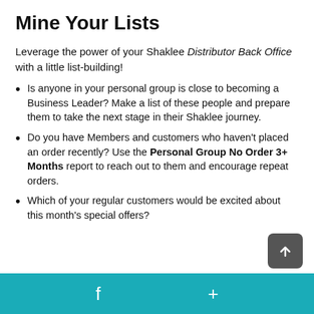Mine Your Lists
Leverage the power of your Shaklee Distributor Back Office with a little list-building!
Is anyone in your personal group is close to becoming a Business Leader?  Make a list of these people and prepare them to take the next stage in their Shaklee journey.
Do you have Members and customers who haven't placed an order recently?  Use the Personal Group No Order 3+ Months report to reach out to them and encourage repeat orders.
Which of your regular customers would be excited about this month's special offers?
f  +